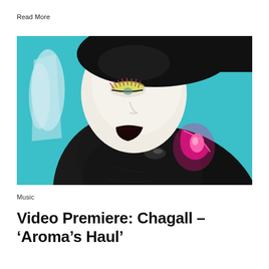Read More
[Figure (photo): Close-up artistic photo of a person wearing a shiny black latex hood/garment against a teal background. The subject has white face makeup, dramatic colorful eye shadow in yellow and pink, and dark lips. A bright pink neon glow appears on the black latex. The image is stylized with multiple exposures or reflections on the left side.]
Music
Video Premiere: Chagall – ‘Aroma’s Haul’